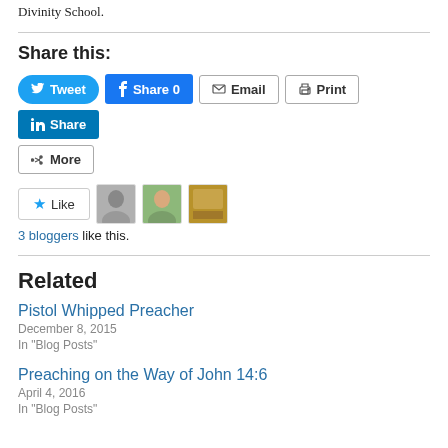Divinity School.
Share this:
Tweet  Share 0  Email  Print  Share  More
[Figure (other): Like button with 3 blogger avatars]
3 bloggers like this.
Related
Pistol Whipped Preacher
December 8, 2015
In "Blog Posts"
Preaching on the Way of John 14:6
April 4, 2016
In "Blog Posts"